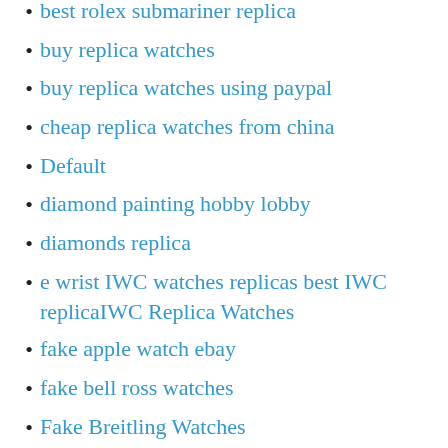best rolex submariner replica
buy replica watches
buy replica watches using paypal
cheap replica watches from china
Default
diamond painting hobby lobby
diamonds replica
e wrist IWC watches replicas best IWC replicaIWC Replica Watches
fake apple watch ebay
fake bell ross watches
Fake Breitling Watches
fake gold watches amazon
fake gold watches for men
Fake Hublot Watches
Fake Omega Watches
Fake Panerai...